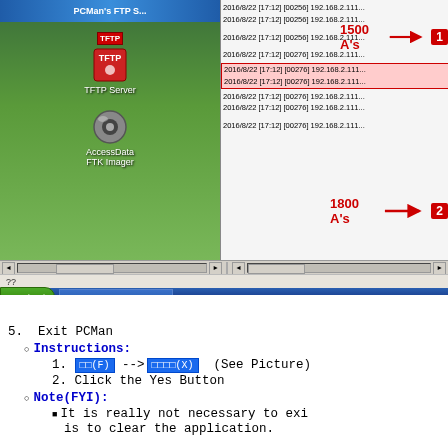[Figure (screenshot): Windows XP screenshot showing PCMan FTP Server log with annotations. Two red arrows point to FTP log entries: arrow 1 labeled '1500 A's' points to the first group of log lines (2016/8/22 [17:12] [00256] 192.168.2.111...), arrow 2 labeled '1800 A's' points to a highlighted red block of log entries showing the same timestamp pattern but with [00276]. A red text annotation reads 'Now I get two lines of output instead of one line of output. (Weird?)'. The desktop shows TFTP Server and AccessData FTK Imager icons. The taskbar shows the Start button and PCMan's FTP Server window.]
5.  Exit PCMan
Instructions: (sub-bullet) 1. [menu F] --> [menu X] (See Picture)  2. Click the Yes Button
Note(FYI): It is really not necessary to exit... is to clear the application.